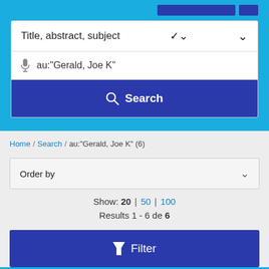[Figure (screenshot): Blue header area with two dark blue button stubs]
Title, abstract, subject
au:"Gerald, Joe K"
Search
Home / Search / au:"Gerald, Joe K" (6)
Order by
Show: 20 | 50 | 100
Results 1 - 6 de 6
Filter